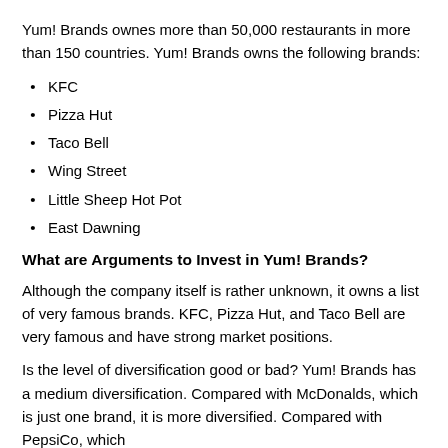Yum! Brands ownes more than 50,000 restaurants in more than 150 countries. Yum! Brands owns the following brands:
KFC
Pizza Hut
Taco Bell
Wing Street
Little Sheep Hot Pot
East Dawning
What are Arguments to Invest in Yum! Brands?
Although the company itself is rather unknown, it owns a list of very famous brands. KFC, Pizza Hut, and Taco Bell are very famous and have strong market positions.
Is the level of diversification good or bad? Yum! Brands has a medium diversification. Compared with McDonalds, which is just one brand, it is more diversified. Compared with PepsiCo, which